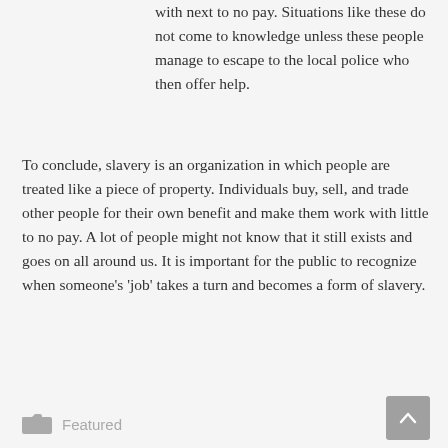with next to no pay. Situations like these do not come to knowledge unless these people manage to escape to the local police who then offer help.
To conclude, slavery is an organization in which people are treated like a piece of property. Individuals buy, sell, and trade other people for their own benefit and make them work with little to no pay. A lot of people might not know that it still exists and goes on all around us. It is important for the public to recognize when someone's 'job' takes a turn and becomes a form of slavery.
Featured